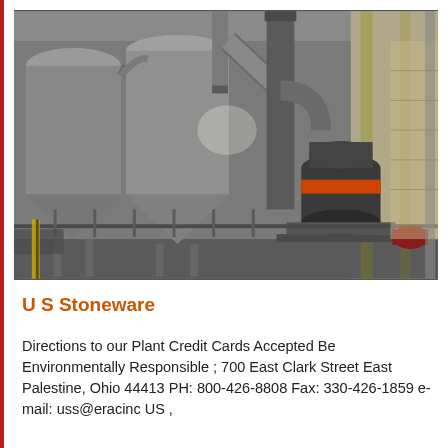[Figure (photo): Interior of an industrial plant showing large metal silos, cyclone separators, pipes, ductwork, and heavy grinding/milling machinery including a prominent cylindrical mill with an orange band, all in a large warehouse-style facility.]
U S Stoneware
Directions to our Plant Credit Cards Accepted Be Environmentally Responsible ; 700 East Clark Street East Palestine, Ohio 44413 PH: 800-426-8808 Fax: 330-426-1859 e-mail: uss@eracinc US ,